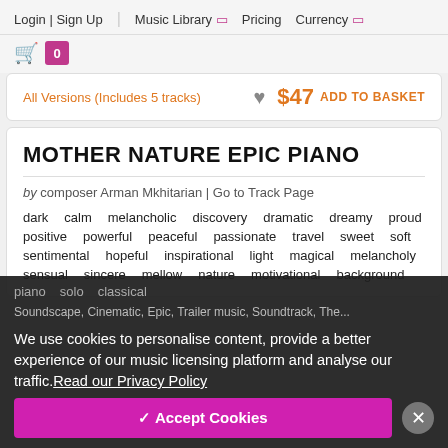Login | Sign Up   Music Library   Pricing   Currency
0 (cart)
All Versions (Includes 5 tracks)  ♥  $47 ADD TO BASKET
MOTHER NATURE EPIC PIANO
by composer Arman Mkhitarian | Go to Track Page
dark   calm   melancholic   discovery   dramatic   dreamy   proud
positive   powerful   peaceful   passionate   travel   sweet   soft
sentimental   hopeful   inspirational   light   magical   melancholy
sensual   sincere   mellow   nature   motivational   background
piano   solo   classical
We use cookies to personalise content, provide a better experience of our music licensing platform and analyse our traffic. Read our Privacy Policy
✓ Accept Cookies